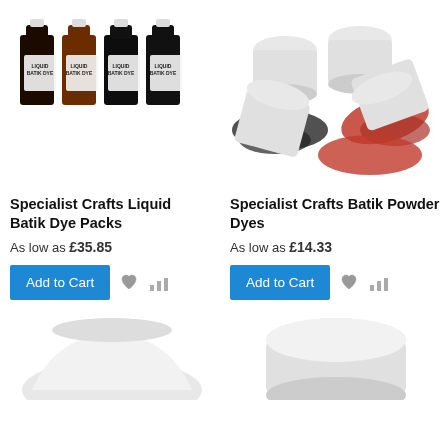[Figure (photo): Four bottles of Specialist Crafts Liquid Batik Dye in dark colors]
[Figure (photo): Several tubs of Specialist Crafts Batik Powder Dyes with powder spilling out in red and black colors]
Specialist Crafts Liquid Batik Dye Packs
As low as £35.85
Specialist Crafts Batik Powder Dyes
As low as £14.33
[Figure (photo): White fabric or bag item at bottom left]
[Figure (photo): White tub or container at bottom right]